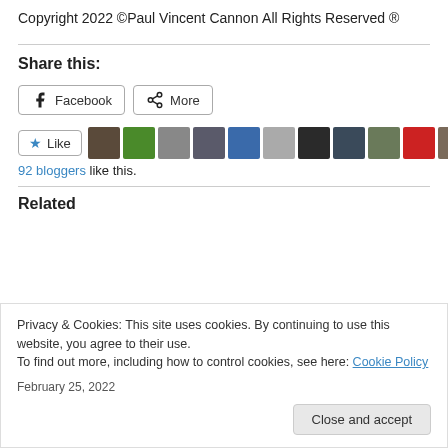Copyright 2022 ©Paul Vincent Cannon
All Rights Reserved ®
Share this:
Facebook  More
Like  92 bloggers like this.
Related
Privacy & Cookies: This site uses cookies. By continuing to use this website, you agree to their use.
To find out more, including how to control cookies, see here: Cookie Policy
Close and accept
February 25, 2022